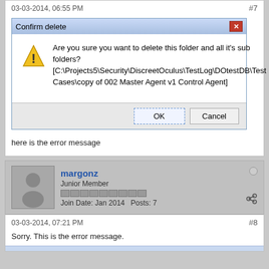03-03-2014, 06:55 PM
#7
[Figure (screenshot): Windows dialog box titled 'Confirm delete' asking 'Are you sure you want to delete this folder and all it's sub folders? [C:\Projects5\Security\DiscreetOculus\TestLog\DOtestDB\Test Cases\copy of 002 Master Agent v1 Control Agent]' with OK and Cancel buttons]
here is the error message
margonz
Junior Member
Join Date: Jan 2014   Posts: 7
03-03-2014, 07:21 PM
#8
Sorry. This is the error message.